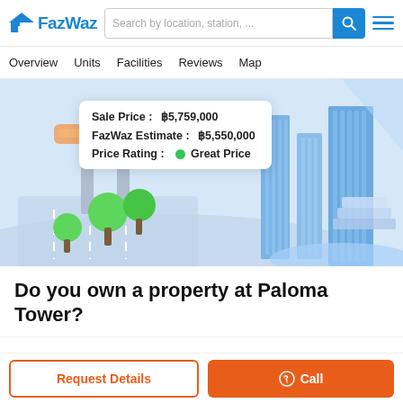FazWaz — Search by location, station, ...
Overview  Units  Facilities  Reviews  Map
[Figure (illustration): Isometric illustration of an urban building complex with trees, roads, and blue skyscraper towers. Overlay popup shows: Sale Price: ₿5,759,000 | FazWaz Estimate: ₿5,550,000 | Price Rating: Great Price]
Do you own a property at Paloma Tower?
Request Details
Call